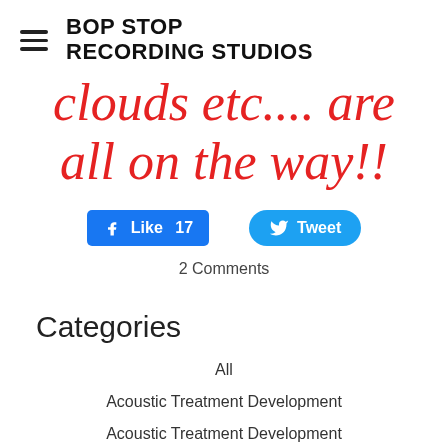BOP STOP RECORDING STUDIOS
clouds etc.... are all on the way!!
[Figure (other): Facebook Like button with count 17 and Twitter Tweet button]
2 Comments
Categories
All
Acoustic Treatment Development
Acoustic Treatment Development
Jazz Duet
Jazz Recording
Jazz Recording Studio